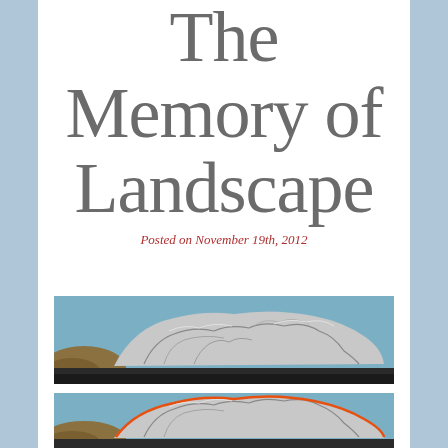The Memory of Landscape
Posted on November 19th, 2012
[Figure (photo): Panoramic photograph of rocky coastal landscape with grey stratified rocks, brown earth on the left, dark sandy ground, and blue sky.]
[Figure (photo): Same panoramic rocky landscape photograph with an orange outlined contour line drawn over the ridge of the rocks, and blue sky above.]